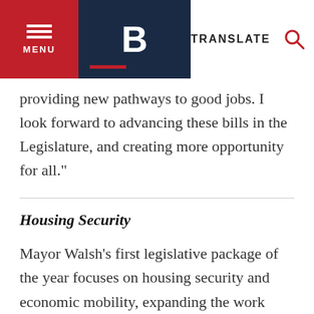MENU | B | TRANSLATE
providing new pathways to good jobs. I look forward to advancing these bills in the Legislature, and creating more opportunity for all."
Housing Security
Mayor Walsh's first legislative package of the year focuses on housing security and economic mobility, expanding the work